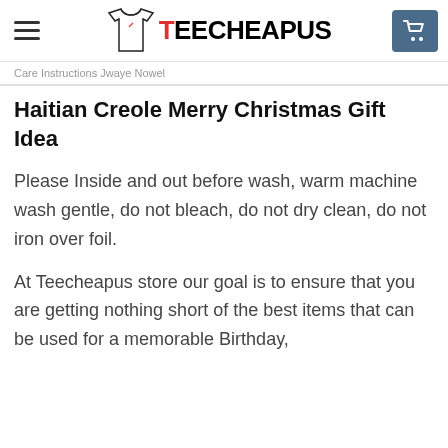Teecheapus
Care Instructions Jwaye Nowel Haitian Creole Merry Christmas Gift Idea
Please Inside and out before wash, warm machine wash gentle, do not bleach, do not dry clean, do not iron over foil.
At Teecheapus store our goal is to ensure that you are getting nothing short of the best items that can be used for a memorable Birthday,